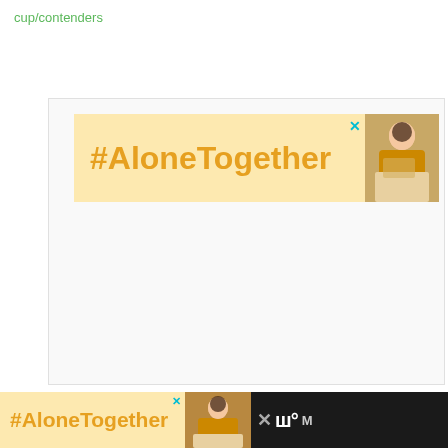cup/contenders
[Figure (screenshot): Advertisement banner with #AloneTogether text in orange on yellow background with image of woman at laptop]
[Figure (screenshot): Bottom advertisement banner with #AloneTogether text in orange on yellow background, dark bar with brand logo]